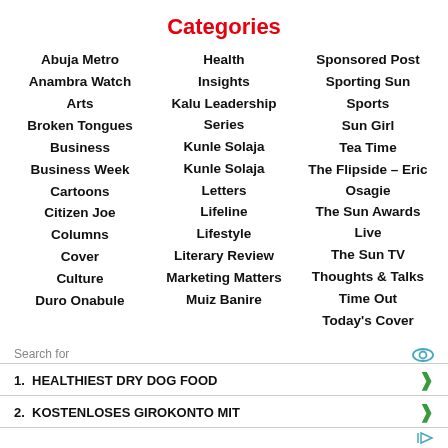Categories
Abuja Metro
Anambra Watch
Arts
Broken Tongues
Business
Business Week
Cartoons
Citizen Joe
Columns
Cover
Culture
Duro Onabule
Health
Insights
Kalu Leadership Series
Kunle Solaja
Kunle Solaja
Letters
Lifeline
Lifestyle
Literary Review
Marketing Matters
Muiz Banire
Sponsored Post
Sporting Sun
Sports
Sun Girl
Tea Time
The Flipside – Eric Osagie
The Sun Awards Live
The Sun TV
Thoughts & Talks
Time Out
Today's Cover
Search for
1.  HEALTHIEST DRY DOG FOOD
2.  KOSTENLOSES GIROKONTO MIT